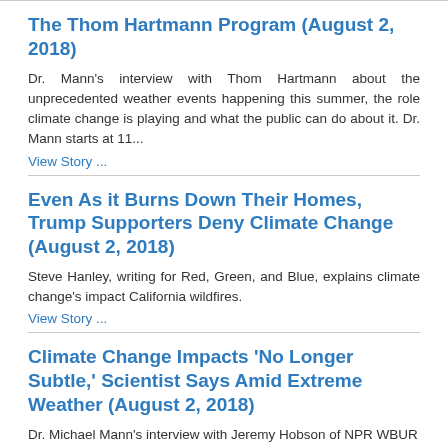The Thom Hartmann Program (August 2, 2018)
Dr. Mann's interview with Thom Hartmann about the unprecedented weather events happening this summer, the role climate change is playing and what the public can do about it. Dr. Mann starts at 11...
View Story ...
Even As it Burns Down Their Homes, Trump Supporters Deny Climate Change (August 2, 2018)
Steve Hanley, writing for Red, Green, and Blue, explains climate change's impact California wildfires.
View Story ...
Climate Change Impacts 'No Longer Subtle,' Scientist Says Amid Extreme Weather (August 2, 2018)
Dr. Michael Mann's interview with Jeremy Hobson of NPR WBUR